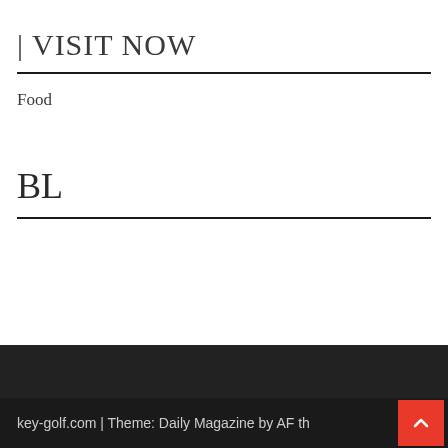| VISIT NOW
Food
BL
key-golf.com | Theme: Daily Magazine by AF th